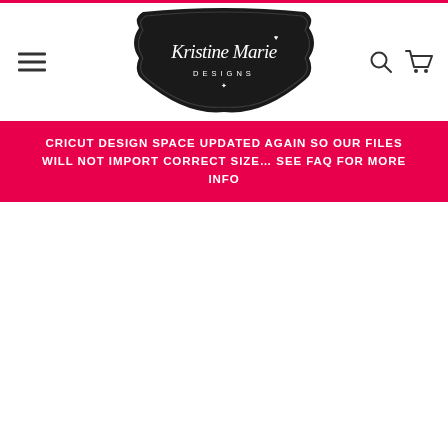[Figure (logo): Kristine Marie Designs logo — white script text on a black ornate badge/shield shape with decorative frame]
CRICUT DESIGN SPACE UPDATED AGAIN SO OUR FILES WILL NOT IMPORT CORRECT SIZE… SEE FAQ FOR MORE INFO